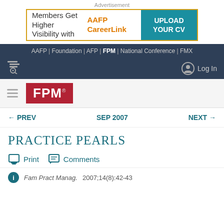Advertisement
[Figure (other): Advertisement banner: Members Get Higher Visibility with AAFP CareerLink | UPLOAD YOUR CV]
AAFP | Foundation | AFP | FPM | National Conference | FMX
Log In
[Figure (logo): FPM logo - red background with white FPM text]
← PREV   SEP 2007   NEXT →
PRACTICE PEARLS
Print   Comments
Fam Pract Manag. 2007;14(8):42-43